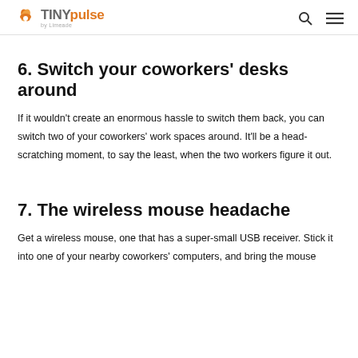TINYpulse by Limeade
6. Switch your coworkers' desks around
If it wouldn't create an enormous hassle to switch them back, you can switch two of your coworkers' work spaces around. It'll be a head-scratching moment, to say the least, when the two workers figure it out.
7. The wireless mouse headache
Get a wireless mouse, one that has a super-small USB receiver. Stick it into one of your nearby coworkers' computers, and bring the mouse